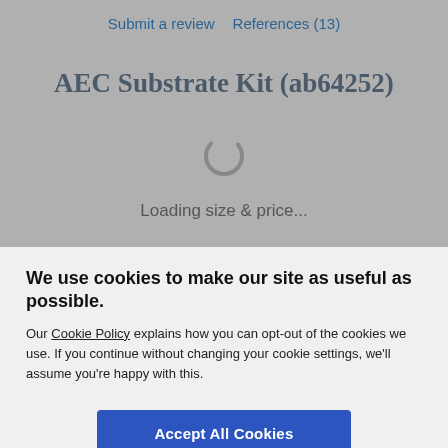Submit a review   References (13)
AEC Substrate Kit (ab64252)
[Figure (other): Loading spinner circle icon]
Loading size & price...
We use cookies to make our site as useful as possible.
Our Cookie Policy explains how you can opt-out of the cookies we use. If you continue without changing your cookie settings, we'll assume you're happy with this.
Accept All Cookies